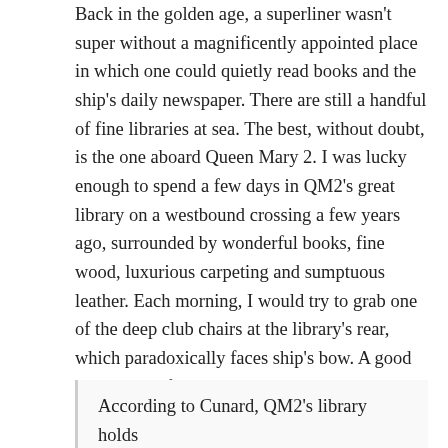Back in the golden age, a superliner wasn't super without a magnificently appointed place in which one could quietly read books and the ship's daily newspaper. There are still a handful of fine libraries at sea. The best, without doubt, is the one aboard Queen Mary 2. I was lucky enough to spend a few days in QM2's great library on a westbound crossing a few years ago, surrounded by wonderful books, fine wood, luxurious carpeting and sumptuous leather. Each morning, I would try to grab one of the deep club chairs at the library's rear, which paradoxically faces ship's bow. A good book, a comfy chair and a picture window view of a great liner's bow plowing through the North Atlantic. Is there a better place to be? Not on this planet.
According to Cunard, QM2's library holds